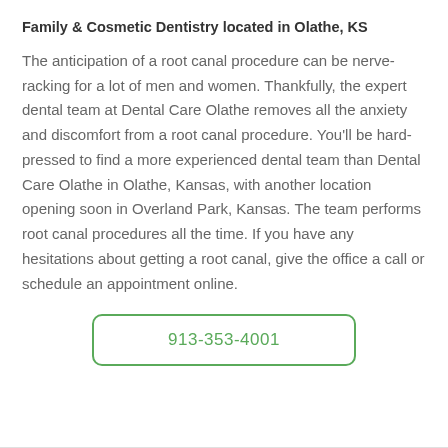Family & Cosmetic Dentistry located in Olathe, KS
The anticipation of a root canal procedure can be nerve-racking for a lot of men and women. Thankfully, the expert dental team at Dental Care Olathe removes all the anxiety and discomfort from a root canal procedure. You'll be hard-pressed to find a more experienced dental team than Dental Care Olathe in Olathe, Kansas, with another location opening soon in Overland Park, Kansas. The team performs root canal procedures all the time. If you have any hesitations about getting a root canal, give the office a call or schedule an appointment online.
913-353-4001